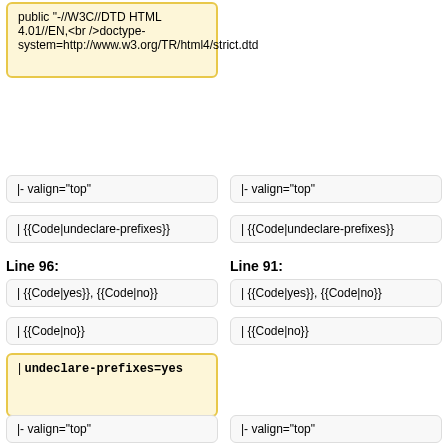public "-//W3C//DTD HTML 4.01//EN,<br />doctype-system=http://www.w3.org/TR/html4/strict.dtd</code>
|- valign="top"
|- valign="top"
| {{Code|undeclare-prefixes}}
| {{Code|undeclare-prefixes}}
Line 96:
Line 91:
| {{Code|yes}}, {{Code|no}}
| {{Code|yes}}, {{Code|no}}
| {{Code|no}}
| {{Code|no}}
| <code>undeclare-prefixes=yes</code>
|- valign="top"
|- valign="top"
| {{Code|normalization-form}}
| {{Code|normalization-form}}
Line 102:
Line 96:
| {{Code|NFC}}, {{Code|none}}
| {{Code|NFC}}, {{Code|none}}